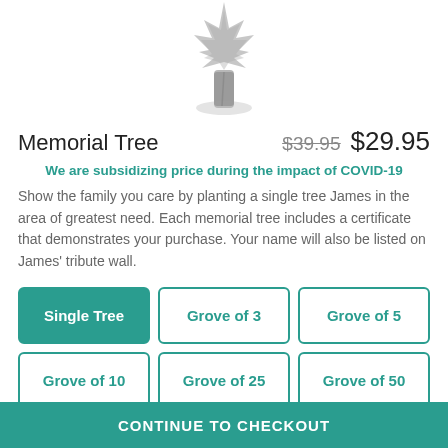[Figure (illustration): Illustrated memorial tree with trunk and bare branches at the top of the page]
Memorial Tree    $39.95  $29.95
We are subsidizing price during the impact of COVID-19
Show the family you care by planting a single tree James in the area of greatest need. Each memorial tree includes a certificate that demonstrates your purchase. Your name will also be listed on James' tribute wall.
Single Tree
Grove of 3
Grove of 5
Grove of 10
Grove of 25
Grove of 50
CONTINUE TO CHECKOUT